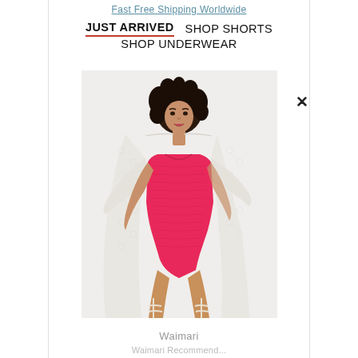Fast Free Shipping Worldwide
JUST ARRIVED   SHOP SHORTS
SHOP UNDERWEAR
[Figure (photo): Fashion model wearing a bright pink bodysuit/one-piece swimsuit and a sheer white lace long cardigan cover-up, with strappy white heeled sandals, walking pose against a white background.]
×
Waimari
Waimari Recommend...